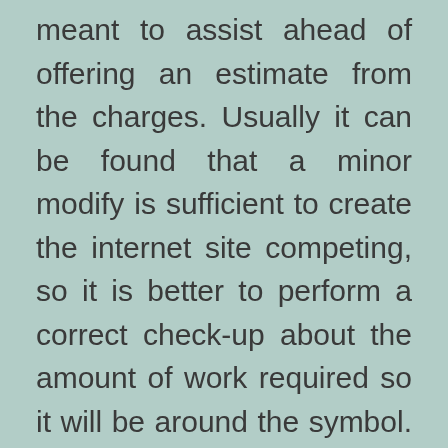meant to assist ahead of offering an estimate from the charges. Usually it can be found that a minor modify is sufficient to create the internet site competing, so it is better to perform a correct check-up about the amount of work required so it will be around the symbol. The market is flooded with SEO support firms but there are numerous pros and cons to think about before finalizing on a single. Right here is some of the points that will assist you pick the best See Firm.